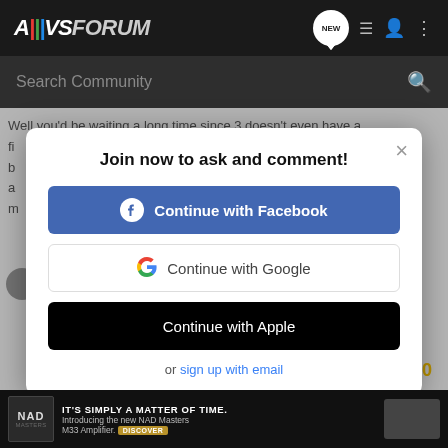AVSForum
Search Community
Well you'd be waiting a long time since 3 doesn't even have a fi b a m sl
Join now to ask and comment!
Continue with Facebook
Continue with Google
Continue with Apple
or sign up with email
[Figure (screenshot): NAD Masters M33 Amplifier advertisement banner at bottom of page. Text reads: IT'S SIMPLY A MATTER OF TIME. Introducing the new NAD Masters M33 Amplifier. DISCOVER]
IT'S SIMPLY A MATTER OF TIME. Introducing the new NAD Masters M33 Amplifier. DISCOVER